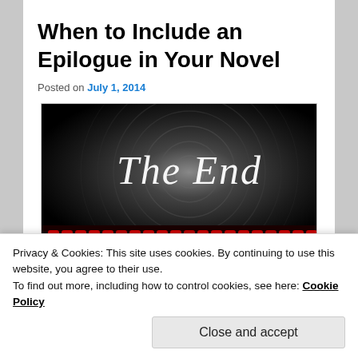When to Include an Epilogue in Your Novel
Posted on July 1, 2014
[Figure (photo): Dark theater screen showing 'The End' in cursive white script, with concentric circular rings radiating behind the text and red theater seats visible in the foreground bottom.]
Privacy & Cookies: This site uses cookies. By continuing to use this website, you agree to their use.
To find out more, including how to control cookies, see here: Cookie Policy
Close and accept